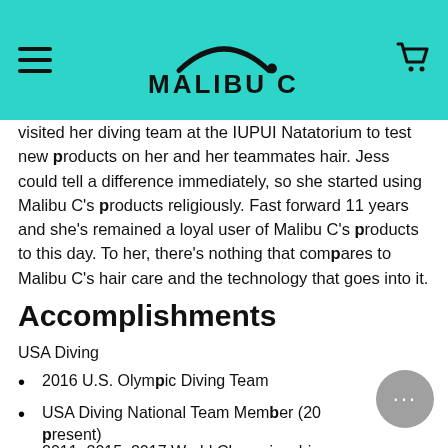Malibu C
visited her diving team at the IUPUI Natatorium to test new products on her and her teammates hair. Jess could tell a difference immediately, so she started using Malibu C's products religiously. Fast forward 11 years and she's remained a loyal user of Malibu C's products to this day. To her, there's nothing that compares to Malibu C's hair care and the technology that goes into it.
Accomplishments
USA Diving
2016 U.S. Olympic Diving Team
USA Diving National Team Member (2016-present)
2011, 2015, 2017 World Championships